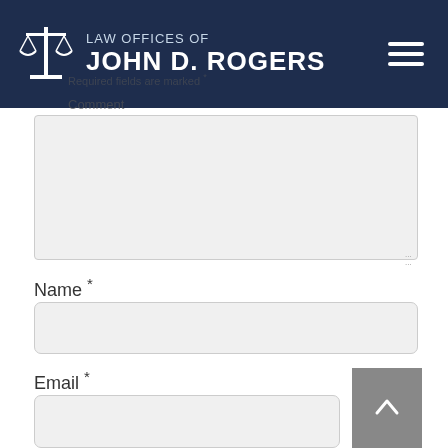LAW OFFICES OF JOHN D. ROGERS
Required fields are marked *
Comment
Name *
Email *